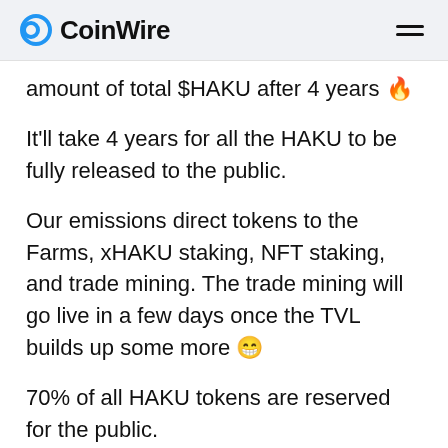CoinWire
amount of total $HAKU after 4 years 🔥
It'll take 4 years for all the HAKU to be fully released to the public.
Our emissions direct tokens to the Farms, xHAKU staking, NFT staking, and trade mining. The trade mining will go live in a few days once the TVL builds up some more 😁
70% of all HAKU tokens are reserved for the public.